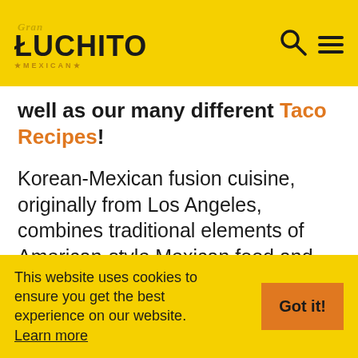Gran Luchito Mexican
well as our many different Taco Recipes!
Korean-Mexican fusion cuisine, originally from Los Angeles, combines traditional elements of American-style Mexican food and Korean food. This style of food was made popular by LA chef Roy Choi who is a South Korean himself. He grew up in Southern Califor...
This website uses cookies to ensure you get the best experience on our website. Learn more